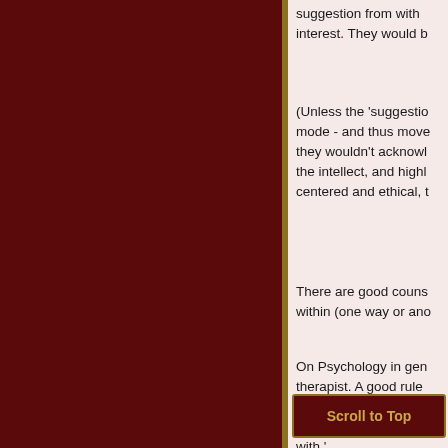suggestion from with interest. They would b
(Unless the 'suggestio mode - and thus move they wouldn't acknowl the intellect, and highl centered and ethical, t
There are good couns within (one way or ano
On Psychology in gen therapist. A good rule therapist has accompl 'holding space', and e with '
Scroll to Top